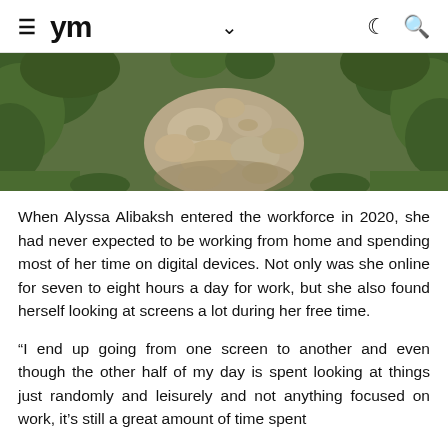ym
[Figure (photo): Overhead view of a rocky path surrounded by green shrubs and vegetation]
When Alyssa Alibaksh entered the workforce in 2020, she had never expected to be working from home and spending most of her time on digital devices. Not only was she online for seven to eight hours a day for work, but she also found herself looking at screens a lot during her free time.
“I end up going from one screen to another and even though the other half of my day is spent looking at things just randomly and leisurely and not anything focused on work, it’s still a great amount of time spent